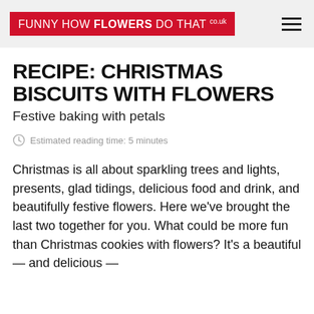FUNNY HOW FLOWERS DO THAT .co.uk
RECIPE: CHRISTMAS BISCUITS WITH FLOWERS
Festive baking with petals
Estimated reading time: 5 minutes
Christmas is all about sparkling trees and lights, presents, glad tidings, delicious food and drink, and beautifully festive flowers. Here we've brought the last two together for you. What could be more fun than Christmas cookies with flowers? It's a beautiful — and delicious —